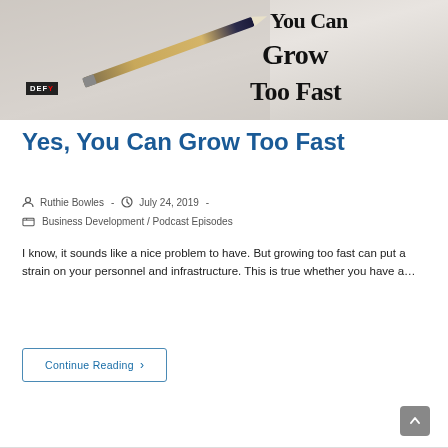[Figure (photo): Blog post hero image showing a pencil on a textured background with bold text overlay reading 'You Can Grow Too Fast'. A small DEFY logo badge is visible in the lower left of the image.]
Yes, You Can Grow Too Fast
Post author: Ruthie Bowles  -  Post published: July 24, 2019  -  Post category: Business Development / Podcast Episodes
I know, it sounds like a nice problem to have. But growing too fast can put a strain on your personnel and infrastructure. This is true whether you have a…
Continue Reading